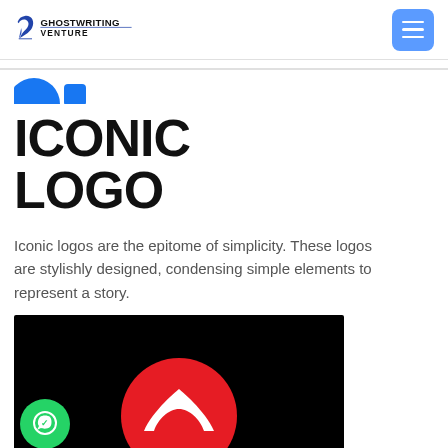[Figure (logo): Ghostwriting Venture logo with feather quill icon and company name]
[Figure (illustration): Blue hamburger menu button (three horizontal lines on blue rounded rectangle)]
[Figure (illustration): Two social media icon circles (blue) partially visible below divider line]
ICONIC LOGO
Iconic logos are the epitome of simplicity. These logos are stylishly designed, condensing simple elements to represent a story.
[Figure (photo): Black background image showing the Motorola logo — a red circle with white stylized M batwing mark — partially visible at bottom of viewport]
[Figure (illustration): Green WhatsApp chat button (circular, with WhatsApp speech bubble icon) overlaid on bottom-left of the image]